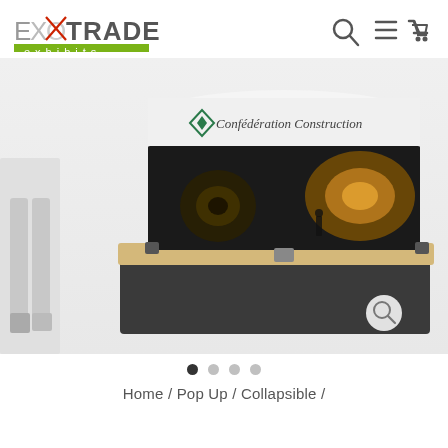[Figure (logo): ExpoTrade Exhibits logo with red X through the O, green bar with 'exhibits' text below]
[Figure (illustration): Navigation icons: search magnifier, hamburger menu, shopping cart]
[Figure (photo): Trade show display booth with curved fabric graphic featuring Confédération Construction branding showing dark tunnel/pipe imagery, with a person silhouette, on a table with wood top]
Home / Pop Up / Collapsible /